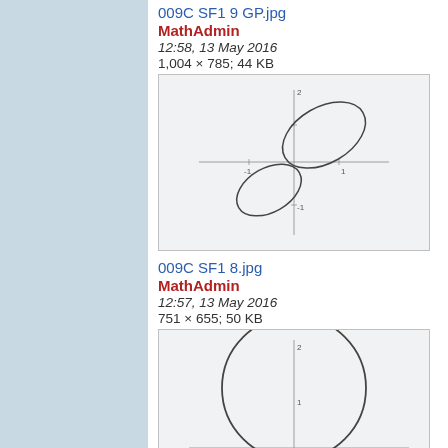009C SF1 9 GP.jpg
MathAdmin
12:58, 13 May 2016
1,004 × 785; 44 KB
[Figure (math-figure): Two ellipses on a coordinate plane, one tilted upper-right and one lower-left, intersecting near the origin.]
009C SF1 8.jpg
MathAdmin
12:57, 13 May 2016
751 × 655; 50 KB
[Figure (math-figure): A large circle on a coordinate plane, partially cropped, centered near origin, with axes visible.]